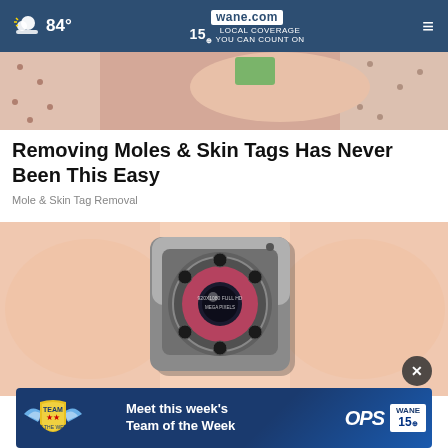84° | wane.com | 15 LOCAL COVERAGE YOU CAN COUNT ON
[Figure (photo): Partial view of a person's torso wearing a dotted/patterned garment, with a hand visible, likely a medical or skin-related context]
Removing Moles & Skin Tags Has Never Been This Easy
Mole & Skin Tag Removal
[Figure (photo): Close-up of a tiny spy camera being held between two fingers. The camera is metallic/chrome colored, square shaped with a lens and infrared LEDs. Text on the lens ring reads '920X1080 FULL HD MEGA PIXELS']
[Figure (photo): Advertisement banner: Team of the Week - Meet this week's Team of the Week - OPS - WANE 15]